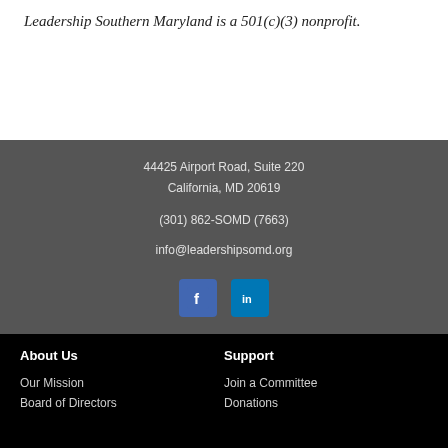Leadership Southern Maryland is a 501(c)(3) nonprofit.
44425 Airport Road, Suite 220
California, MD 20619
(301) 862-SOMD (7663)
info@leadershipsomd.org
[Figure (other): Facebook and LinkedIn social media icon buttons]
About Us
Our Mission
Board of Directors
Support
Join a Committee
Donations